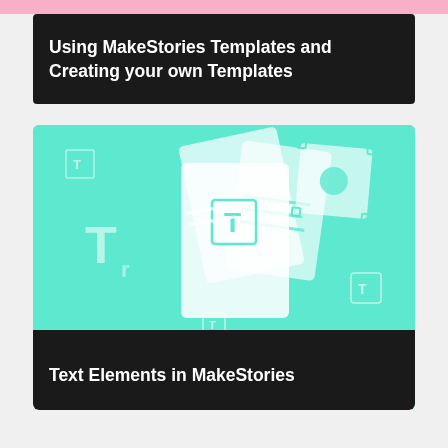[Figure (illustration): Pink strip at top of page]
Using MakeStories Templates and Creating your own Templates
[Figure (illustration): Teal/mint colored illustration showing floating cards with text icon T and typography symbols, representing template and text element design UI]
Text Elements in MakeStories